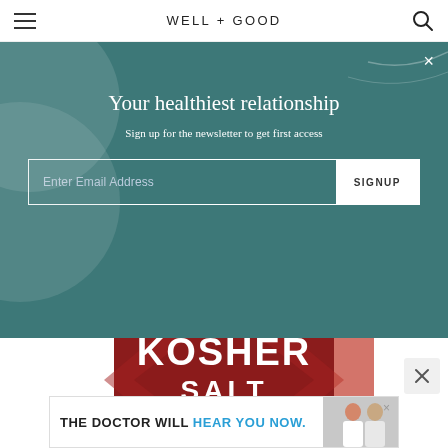WELL+GOOD
Your healthiest relationship
Sign up for the newsletter to get first access
[Figure (screenshot): Newsletter signup modal overlay on teal background with email input field and SIGNUP button]
[Figure (photo): Red box of KOSHER SALT product]
[Figure (photo): Advertisement banner: THE DOCTOR WILL HEAR YOU NOW. with photo of two women]
THE DOCTOR WILL HEAR YOU NOW.